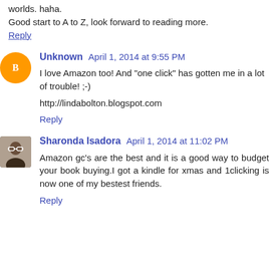worlds. haha.
Good start to A to Z, look forward to reading more.
Reply
Unknown April 1, 2014 at 9:55 PM
I love Amazon too! And "one click" has gotten me in a lot of trouble! ;-)
http://lindabolton.blogspot.com
Reply
Sharonda Isadora April 1, 2014 at 11:02 PM
Amazon gc's are the best and it is a good way to budget your book buying.I got a kindle for xmas and 1clicking is now one of my bestest friends.
Reply